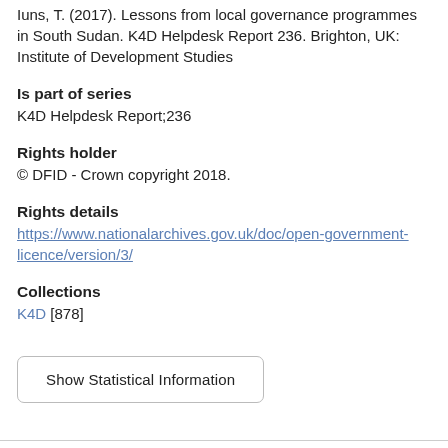Iuns, T. (2017). Lessons from local governance programmes in South Sudan. K4D Helpdesk Report 236. Brighton, UK: Institute of Development Studies
Is part of series
K4D Helpdesk Report;236
Rights holder
© DFID - Crown copyright 2018.
Rights details
https://www.nationalarchives.gov.uk/doc/open-government-licence/version/3/
Collections
K4D [878]
Show Statistical Information